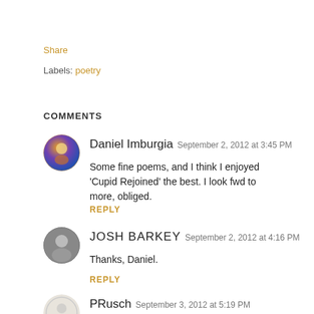Share
Labels: poetry
COMMENTS
Daniel Imburgia  September 2, 2012 at 3:45 PM
Some fine poems, and I think I enjoyed 'Cupid Rejoined' the best. I look fwd to more, obliged.
REPLY
JOSH BARKEY  September 2, 2012 at 4:16 PM
Thanks, Daniel.
REPLY
PRusch  September 3, 2012 at 5:19 PM
Really like Cupid Rejoined.